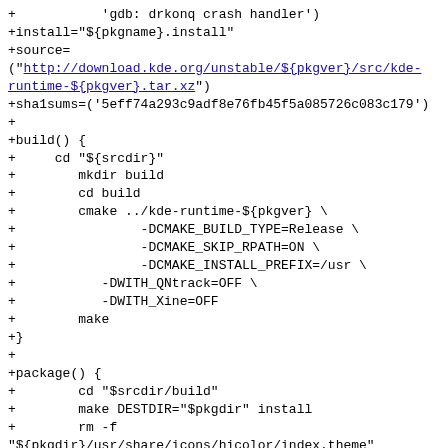+           'gdb: drkonq crash handler')
+install="${pkgname}.install"
+source=
("http://download.kde.org/unstable/${pkgver}/src/kde-runtime-${pkgver}.tar.xz")
+sha1sums=('5eff74a293c9adf8e76fb45f5a085726c083c179')
+
+build() {
+     cd "${srcdir}"
+        mkdir build
+        cd build
+        cmake ../kde-runtime-${pkgver} \
+                -DCMAKE_BUILD_TYPE=Release \
+                -DCMAKE_SKIP_RPATH=ON \
+                -DCMAKE_INSTALL_PREFIX=/usr \
+           -DWITH_QNtrack=OFF \
+           -DWITH_Xine=OFF
+        make
+}
+
+package() {
+        cd "$srcdir/build"
+        make DESTDIR="$pkgdir" install
+        rm -f
"${pkgdir}/usr/share/icons/hicolor/index.theme"
+
+     ln -sf /usr/lib/kde4/libexec/kdesu
"${pkgdir}/usr/bin/"
+}